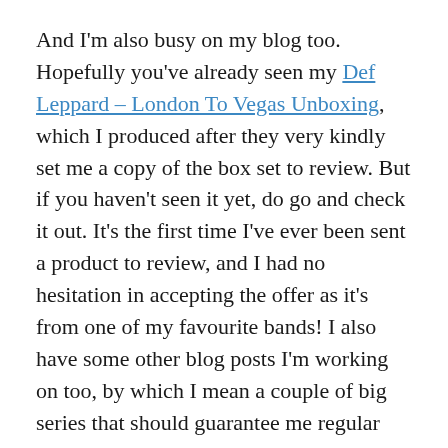And I'm also busy on my blog too. Hopefully you've already seen my Def Leppard – London To Vegas Unboxing, which I produced after they very kindly set me a copy of the box set to review. But if you haven't seen it yet, do go and check it out. It's the first time I've ever been sent a product to review, and I had no hesitation in accepting the offer as it's from one of my favourite bands! I also have some other blog posts I'm working on too, by which I mean a couple of big series that should guarantee me regular posts over the summer and beyond. So I'm in no danger of running out of content just yet!
And of course my Favourites posts will